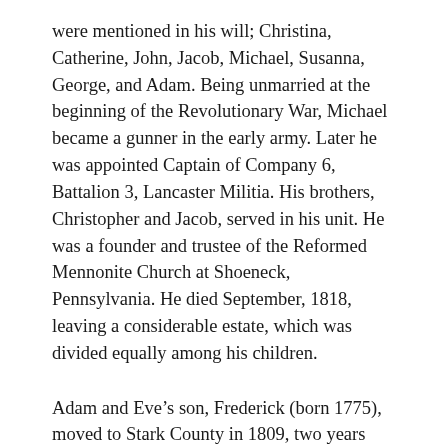were mentioned in his will; Christina, Catherine, John, Jacob, Michael, Susanna, George, and Adam. Being unmarried at the beginning of the Revolutionary War, Michael became a gunner in the early army. Later he was appointed Captain of Company 6, Battalion 3, Lancaster Militia. His brothers, Christopher and Jacob, served in his unit. He was a founder and trustee of the Reformed Mennonite Church at Shoeneck, Pennsylvania. He died September, 1818, leaving a considerable estate, which was divided equally among his children.
Adam and Eve’s son, Frederick (born 1775), moved to Stark County in 1809, two years before his father and brothers. He and his wife, Mary, had at least five sons and five daughters. There is little known of Frederick. He lived for a few years as a member of the “Friendly Association of Mutual Interests” (Kendall Community, Society of Friends) near Massillon, Ohio. This communal group broke up in the late 1820’s. Frederick died 1828 in Massillon. His wife, Mary (Heffelfinger), along